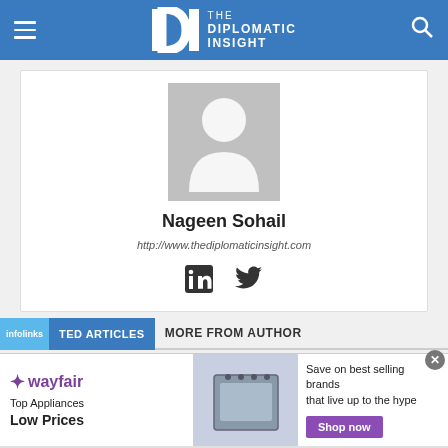THE DIPLOMATIC INSIGHT
[Figure (photo): Generic user avatar placeholder — grey silhouette of a person on grey background]
Nageen Sohail
http://www.thediplomaticinsight.com
[Figure (illustration): LinkedIn and Twitter social media icons]
RELATED ARTICLES
MORE FROM AUTHOR
[Figure (other): Wayfair advertisement banner — Top Appliances Low Prices, Save on best selling brands that live up to the hype, Shop now button]